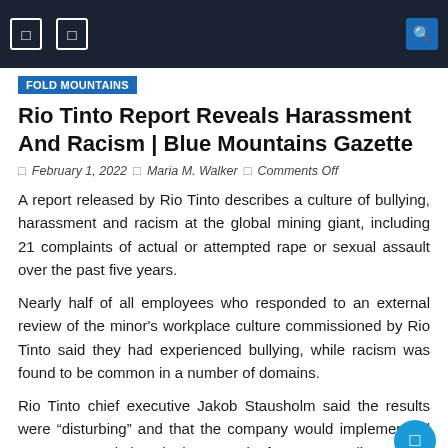Blue Mountains
Fold Mountains
Rio Tinto Report Reveals Harassment And Racism | Blue Mountains Gazette
February 1, 2022 | Maria M. Walker | Comments Off
A report released by Rio Tinto describes a culture of bullying, harassment and racism at the global mining giant, including 21 complaints of actual or attempted rape or sexual assault over the past five years.
Nearly half of all employees who responded to an external review of the minor's workplace culture commissioned by Rio Tinto said they had experienced bullying, while racism was found to be common in a number of domains.
Rio Tinto chief executive Jakob Stausholm said the results were “disturbing” and that the company would implement all 26 recommendations in the report by former Australian sex